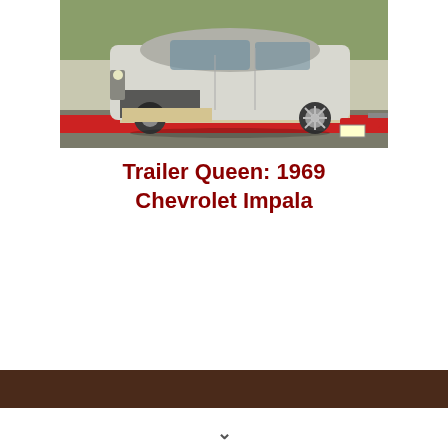[Figure (photo): A white 1969 Chevrolet Impala convertible being transported on a red and white flatbed trailer. The car appears worn and weathered, missing some parts. Shot outdoors on a sunny day.]
Trailer Queen: 1969 Chevrolet Impala